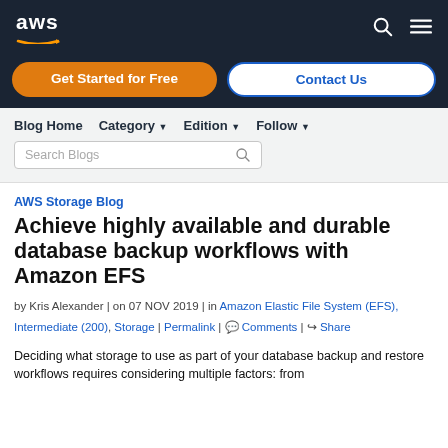aws — Get Started for Free | Contact Us
Blog Home | Category | Edition | Follow | Search Blogs
AWS Storage Blog
Achieve highly available and durable database backup workflows with Amazon EFS
by Kris Alexander | on 07 NOV 2019 | in Amazon Elastic File System (EFS), Intermediate (200), Storage | Permalink | Comments | Share
Deciding what storage to use as part of your database backup and restore workflows requires considering multiple factors: from